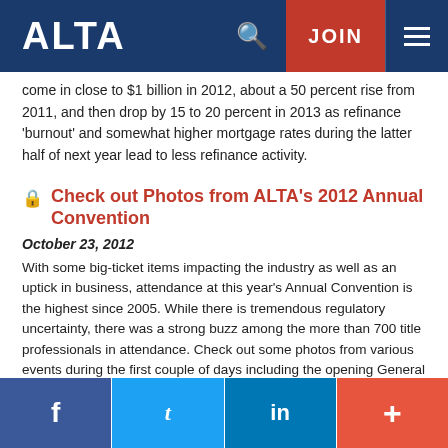ALTA | JOIN
come in close to $1 billion in 2012, about a 50 percent rise from 2011, and then drop by 15 to 20 percent in 2013 as refinance 'burnout' and somewhat higher mortgage rates during the latter half of next year lead to less refinance activity.
Check out Photos from ALTA's 2012 Annual Convention
October 23, 2012
With some big-ticket items impacting the industry as well as an uptick in business, attendance at this year's Annual Convention is the highest since 2005. While there is tremendous regulatory uncertainty, there was a strong buzz among the more than 700 title professionals in attendance. Check out some photos from various events during the first couple of days including the opening General Session, First-Time Convention Attendee & New Member Mixer, Ice-Breaker Reception & Grand Opening of Exhibit Showcase and committee meetings on ALTA's Facebook page. While you're there, make sure you like our page.
f  Twitter  in  +